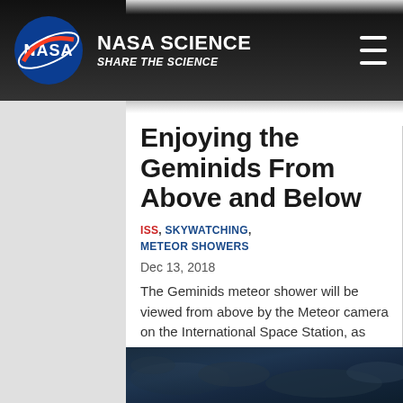NASA SCIENCE – SHARE THE SCIENCE
Enjoying the Geminids From Above and Below
ISS, SKYWATCHING, METEOR SHOWERS
Dec 13, 2018
The Geminids meteor shower will be viewed from above by the Meteor camera on the International Space Station, as well as from below by sky watchers on Earth.
[Figure (photo): Dark blue/teal sky or cloud image at the bottom of the page, partially visible]